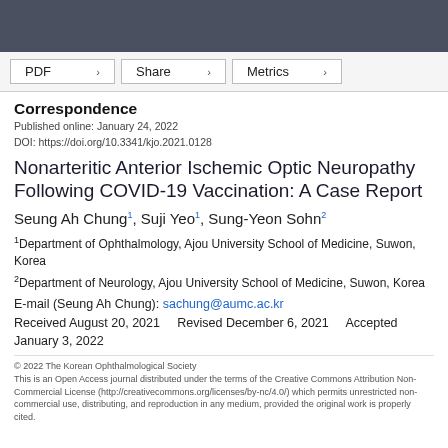Correspondence
Published online: January 24, 2022
DOI: https://doi.org/10.3341/kjo.2021.0128
Nonarteritic Anterior Ischemic Optic Neuropathy Following COVID-19 Vaccination: A Case Report
Seung Ah Chung1, Suji Yeo1, Sung-Yeon Sohn2
1Department of Ophthalmology, Ajou University School of Medicine, Suwon, Korea
2Department of Neurology, Ajou University School of Medicine, Suwon, Korea
E-mail (Seung Ah Chung): sachung@aumc.ac.kr
Received August 20, 2021   Revised December 6, 2021   Accepted January 3, 2022
© 2022 The Korean Ophthalmological Society
This is an Open Access journal distributed under the terms of the Creative Commons Attribution Non-Commercial License (http://creativecommons.org/licenses/by-nc/4.0/) which permits unrestricted non-commercial use, distributing, and reproduction in any medium, provided the original work is properly cited.